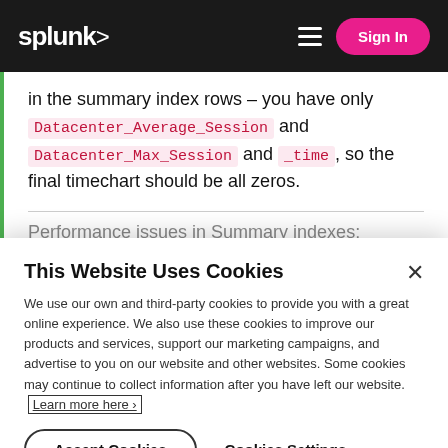splunk> Sign In
in the summary index rows – you have only Datacenter_Average_Session and Datacenter_Max_Session and _time, so the final timechart should be all zeros.
Performance issues in Summary indexes:
This Website Uses Cookies
We use our own and third-party cookies to provide you with a great online experience. We also use these cookies to improve our products and services, support our marketing campaigns, and advertise to you on our website and other websites. Some cookies may continue to collect information after you have left our website. Learn more here ›
Accept Cookies
Cookies Settings ›